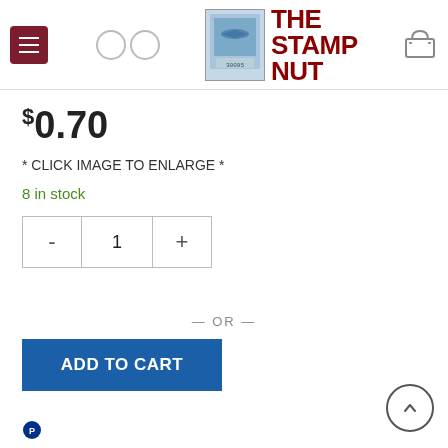The Stamp Nut - e-commerce website header with navigation menu, logo, search, and cart icons
$0.70
* CLICK IMAGE TO ENLARGE *
8 in stock
- 1 + (quantity selector)
— OR —
ADD TO CART